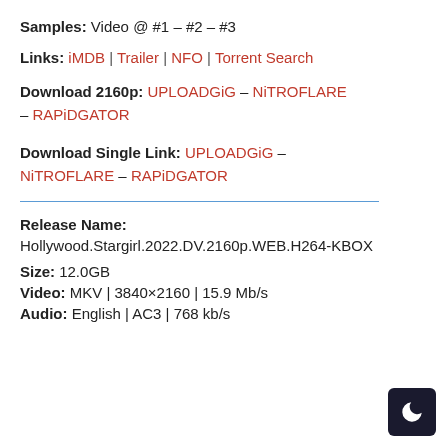Samples: Video @ #1 – #2 – #3
Links: iMDB | Trailer | NFO | Torrent Search
Download 2160p: UPLOADGiG – NiTROFLARE – RAPiDGATOR
Download Single Link: UPLOADGiG – NiTROFLARE – RAPiDGATOR
Release Name:
Hollywood.Stargirl.2022.DV.2160p.WEB.H264-KBOX
Size: 12.0GB
Video: MKV | 3840×2160 | 15.9 Mb/s
Audio: English | AC3 | 768 kb/s